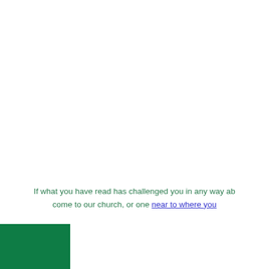If what you have read has challenged you in any way ab... come to our church, or one near to where you...